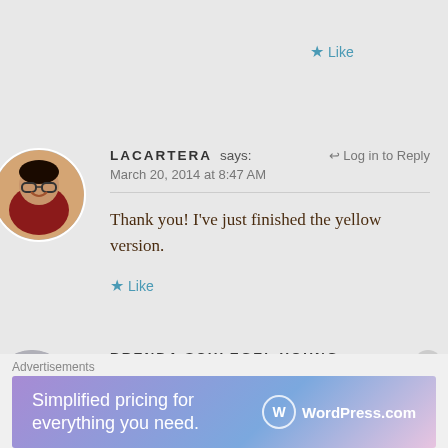★ Like
LACARTERA says: ↩ Log in to Reply
March 20, 2014 at 8:47 AM
Thank you! I've just finished the yellow version.
★ Like
BRENDA SCHLEGEL YOUNG says: ↩ Log in to Reply
Advertisements
[Figure (screenshot): WordPress.com advertisement banner: 'Simplified pricing for everything you need.' with WordPress.com logo]